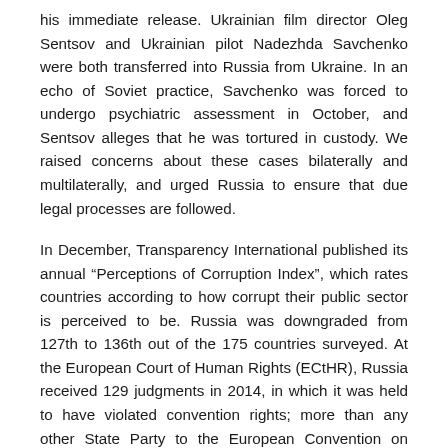his immediate release. Ukrainian film director Oleg Sentsov and Ukrainian pilot Nadezhda Savchenko were both transferred into Russia from Ukraine. In an echo of Soviet practice, Savchenko was forced to undergo psychiatric assessment in October, and Sentsov alleges that he was tortured in custody. We raised concerns about these cases bilaterally and multilaterally, and urged Russia to ensure that due legal processes are followed.
In December, Transparency International published its annual “Perceptions of Corruption Index”, which rates countries according to how corrupt their public sector is perceived to be. Russia was downgraded from 127th to 136th out of the 175 countries surveyed. At the European Court of Human Rights (ECtHR), Russia received 129 judgments in 2014, in which it was held to have violated convention rights; more than any other State Party to the European Convention on Human Rights.